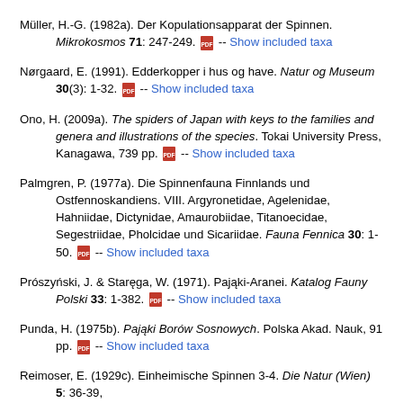Müller, H.-G. (1982a). Der Kopulationsapparat der Spinnen. Mikrokosmos 71: 247-249. [PDF] -- Show included taxa
Nørgaard, E. (1991). Edderkopper i hus og have. Natur og Museum 30(3): 1-32. [PDF] -- Show included taxa
Ono, H. (2009a). The spiders of Japan with keys to the families and genera and illustrations of the species. Tokai University Press, Kanagawa, 739 pp. [PDF] -- Show included taxa
Palmgren, P. (1977a). Die Spinnenfauna Finnlands und Ostfennoskandiens. VIII. Argyronetidae, Agelenidae, Hahniidae, Dictynidae, Amaurobiidae, Titanoecidae, Segestriidae, Pholcidae und Sicariidae. Fauna Fennica 30: 1-50. [PDF] -- Show included taxa
Prószyński, J. & Staręga, W. (1971). Pająki-Aranei. Katalog Fauny Polski 33: 1-382. [PDF] -- Show included taxa
Punda, H. (1975b). Pająki Borów Sosnowych. Polska Akad. Nauk, 91 pp. [PDF] -- Show included taxa
Reimoser, E. (1929c). Einheimische Spinnen 3-4. Die Natur (Wien) 5: 36-39,